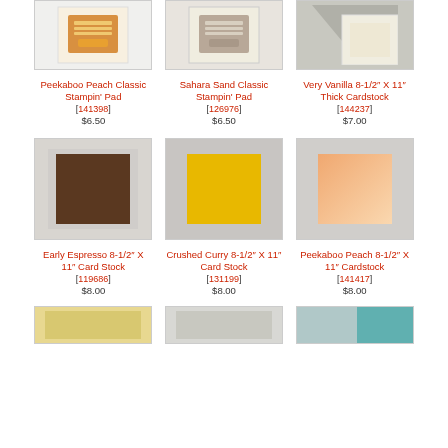[Figure (photo): Peekaboo Peach Classic Stampin' Pad product image (top, cropped)]
[Figure (photo): Sahara Sand Classic Stampin' Pad product image (top, cropped)]
[Figure (photo): Very Vanilla 8-1/2 X 11 Thick Cardstock product image (top, cropped)]
Peekaboo Peach Classic Stampin' Pad [141398] $6.50
Sahara Sand Classic Stampin' Pad [126976] $6.50
Very Vanilla 8-1/2" X 11" Thick Cardstock [144237] $7.00
[Figure (photo): Early Espresso 8-1/2 X 11 Card Stock brown cardstock sheet]
[Figure (photo): Crushed Curry 8-1/2 X 11 Card Stock yellow cardstock sheet]
[Figure (photo): Peekaboo Peach 8-1/2 X 11 Cardstock peach cardstock sheet]
Early Espresso 8-1/2" X 11" Card Stock [119686] $8.00
Crushed Curry 8-1/2" X 11" Card Stock [131199] $8.00
Peekaboo Peach 8-1/2" X 11" Cardstock [141417] $8.00
[Figure (photo): Bottom row product 1 (cropped, partially visible)]
[Figure (photo): Bottom row product 2 (cropped, partially visible)]
[Figure (photo): Bottom row product 3 (cropped, partially visible)]